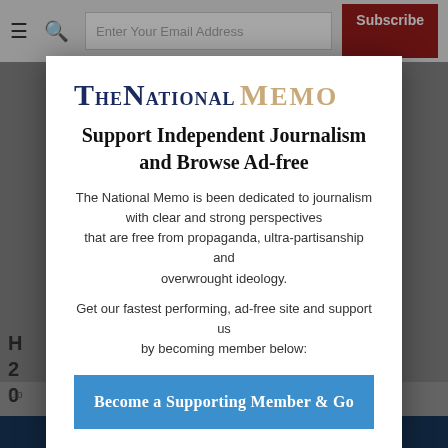Enter Your Email Address | Subscribe
[Figure (screenshot): Blurred background of a webpage with gray navigation header and a partially visible article headline reading 'H... 20...' with byline 'Lip...' and a dark blue footer bar]
TheNational Memo
Support Independent Journalism and Browse Ad-free
The National Memo is been dedicated to journalism with clear and strong perspectives that are free from propaganda, ultra-partisanship and overwrought ideology.
Get our fastest performing, ad-free site and support us by becoming member below:
Become a Supporting Member & Go